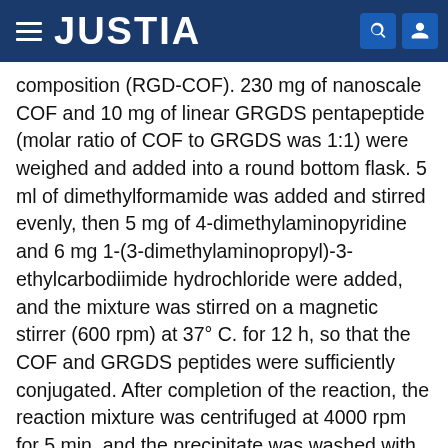JUSTIA
composition (RGD-COF). 230 mg of nanoscale COF and 10 mg of linear GRGDS pentapeptide (molar ratio of COF to GRGDS was 1:1) were weighed and added into a round bottom flask. 5 ml of dimethylformamide was added and stirred evenly, then 5 mg of 4-dimethylaminopyridine and 6 mg 1-(3-dimethylaminopropyl)-3-ethylcarbodiimide hydrochloride were added, and the mixture was stirred on a magnetic stirrer (600 rpm) at 37° C. for 12 h, so that the COF and GRGDS peptides were sufficiently conjugated. After completion of the reaction, the reaction mixture was centrifuged at 4000 rpm for 5 min, and the precipitate was washed with dimethylformamide (10 mL×2) and water (10 mL×2), freeze-dried at −50° C. for 12 h to give a GRGDS modified COF. The results of SEM (FIG. 3) and DLS (FIG. 4) showed that the obtained RGD-COF had regular cubic shape with